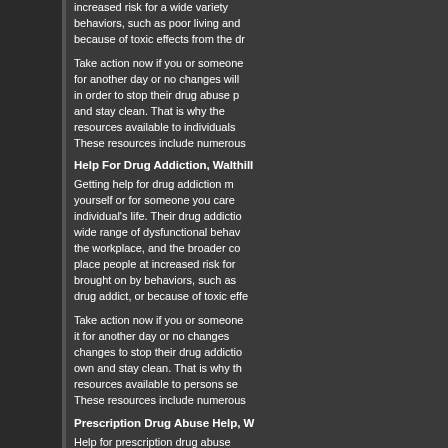increased risk for a wide variety of behaviors, such as poor living and because of toxic effects from the dr
Take action now if you or someone for another day or no changes will in order to stop their drug abuse p and stay clean. That is why the resources available to individuals These resources include numerous
Help For Drug Addiction, Walthill
Getting help for drug addiction m yourself or for someone you care individual's life. Their drug addictio wide range of dysfunctional behav the workplace, and the broader co place people at increased risk for brought on by behaviors, such as drug addict, or because of toxic effe
Take action now if you or someone it for another day or no changes changes to stop their drug addictio own and stay clean. That is why th resources available to persons se These resources include numerous
Prescription Drug Abuse Help, W
Help for prescription drug abuse becoming dependent on the variou shown that abuse of any drug, illic is no one form of prescription drug help for prescription drug abuse, c needs of the individual.